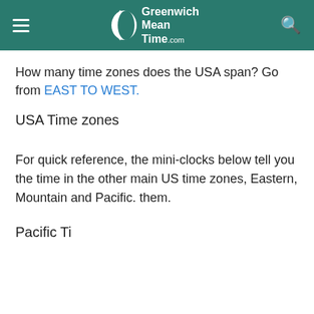Greenwich Mean Time.com
How many time zones does the USA span? Go from EAST TO WEST.
USA Time zones
For quick reference, the mini-clocks below tell you the time in the other main US time zones, Eastern, Mountain and Pacific. them.
Pacific Ti...